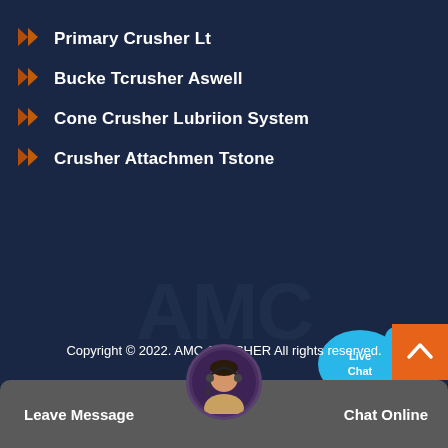Primary Crusher Lt
Bucke Tcrusher Aswell
Cone Crusher Lubriion System
Crusher Attachmen Tstone
[Figure (illustration): Live Chat bubble widget with blue speech bubble and 'Live Chat' text, with an X close button]
Copyright © 2022. AMC CRUSHER All rights reserved.
Sitemap
[Figure (illustration): Orange back-to-top button with upward chevron arrow]
[Figure (photo): Circular avatar of a woman wearing a headset microphone]
Leave Message
Chat Online